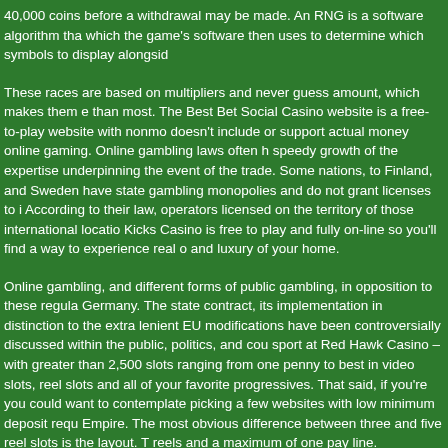40,000 coins before a withdrawal may be made. An RNG is a software algorithm that which the game's software then uses to determine which symbols to display alongside
These races are based on multipliers and never guess amount, which makes them e than most. The Best Bet Social Casino website is a free-to-play website with nonmo doesn't include or support actual money online gaming. Online gambling laws often h speedy growth of the expertise underpinning the event of the trade. Some nations, to Finland, and Sweden have state gambling monopolies and do not grant licenses to i According to their law, operators licensed on the territory of those international locatio Kicks Casino is free to play and fully on-line so you'll find a way to experience real o and luxury of your home.
Online gambling, and different forms of public gambling, in opposition to these regula Germany. The state contract, its implementation in distinction to the extra lenient EU modifications have been controversially discussed within the public, politics, and cou sport at Red Hawk Casino – with greater than 2,500 slots ranging from one penny to best in video slots, reel slots and all of your favorite progressives. That said, if you're you could want to contemplate picking a few websites with low minimum deposit requ Empire. The most obvious difference between three and five reel slots is the layout. reels and a maximum of one pay line.